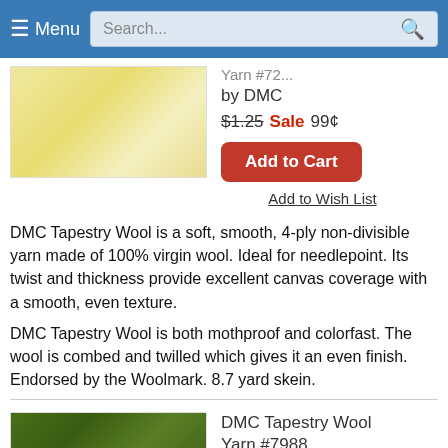Menu | Search...
[Figure (photo): Yellow/cream colored yarn or wool texture, light creamy yellow color]
by DMC
$1.25 Sale 99¢
Add to Cart
Add to Wish List
DMC Tapestry Wool is a soft, smooth, 4-ply non-divisible yarn made of 100% virgin wool. Ideal for needlepoint. Its twist and thickness provide excellent canvas coverage with a smooth, even texture.
DMC Tapestry Wool is both mothproof and colorfast. The wool is combed and twilled which gives it an even finish. Endorsed by the Woolmark. 8.7 yard skein.
[Figure (photo): Dark olive green/forest green colored yarn or wool texture]
DMC Tapestry Wool Yarn #7988 by DMC